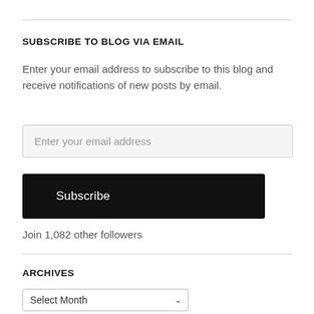SUBSCRIBE TO BLOG VIA EMAIL
Enter your email address to subscribe to this blog and receive notifications of new posts by email.
Enter your email address
Subscribe
Join 1,082 other followers
ARCHIVES
Select Month